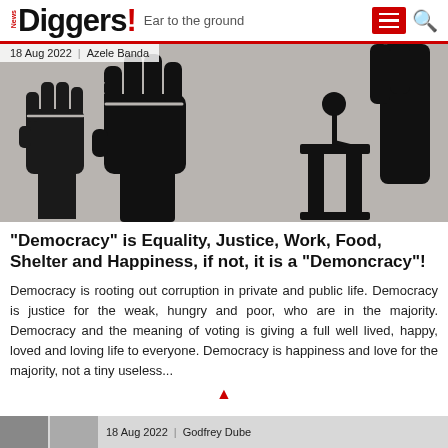News Diggers! Ear to the ground
[Figure (illustration): Black and white graphic illustration showing raised fists on the left and a podium with microphone on the right, on a grey background. Overlaid text: 18 Aug 2022 | Azele Banda]
"Democracy" is Equality, Justice, Work, Food, Shelter and Happiness, if not, it is a "Demoncracy"!
Democracy is rooting out corruption in private and public life. Democracy is justice for the weak, hungry and poor, who are in the majority. Democracy and the meaning of voting is giving a full well lived, happy, loved and loving life to everyone. Democracy is happiness and love for the majority, not a tiny useless...
18 Aug 2022 | Godfrey Dube